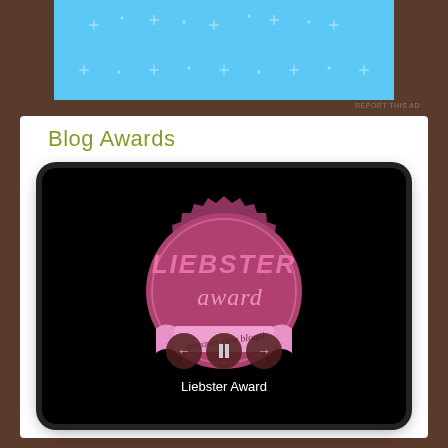[Figure (screenshot): Light blue advertisement banner with white star/sparkle decorations on brown background]
REPORT THIS AD
Blog Awards
[Figure (photo): Slideshow widget showing Liebster Award badge image - a pink/mauve circular seal with spiky edges, text 'LIEBSTER award discover new blogs!' with media player controls (back, pause, forward) and caption 'Liebster Award']